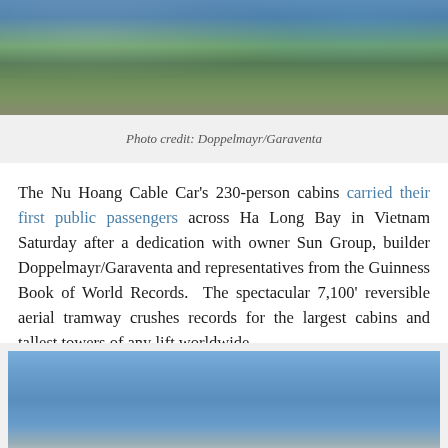[Figure (photo): Aerial view of the Nu Hoang Cable Car over Ha Long Bay in Vietnam, showing cable car towers, red gondola cabins, and lush green hillside with buildings below]
Photo credit: Doppelmayr/Garaventa
The Nu Hoang Cable Car's 230-person cabins carried their first public passengers across Ha Long Bay in Vietnam Saturday after a dedication with owner Sun Group, builder Doppelmayr/Garaventa and representatives from the Guinness Book of World Records.  The spectacular 7,100' reversible aerial tramway crushes records for the largest cabins and tallest towers of any lift worldwide.
[Figure (photo): Sky view photograph showing the cable car system against a clear blue sky]